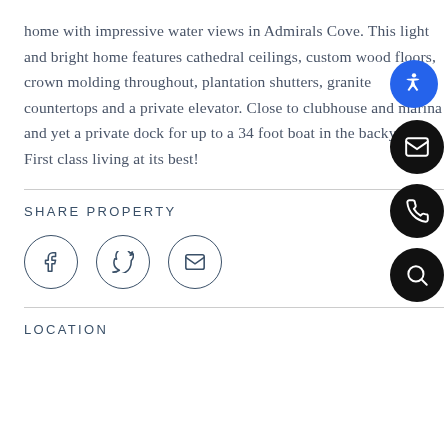home with impressive water views in Admirals Cove. This light and bright home features cathedral ceilings, custom wood floors, crown molding throughout, plantation shutters, granite countertops and a private elevator. Close to clubhouse and marina and yet a private dock for up to a 34 foot boat in the backyard. First class living at its best!
SHARE PROPERTY
[Figure (other): Social sharing icons: Facebook, Twitter, Email in circles]
LOCATION